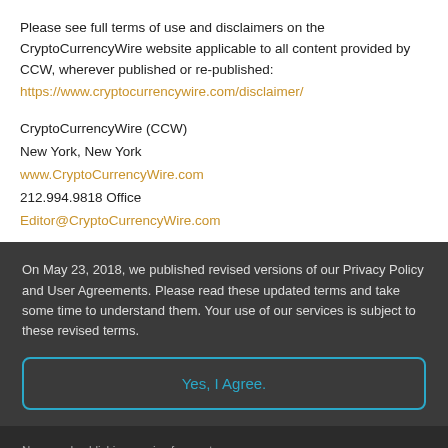Please see full terms of use and disclaimers on the CryptoCurrencyWire website applicable to all content provided by CCW, wherever published or re-published:
https://www.cryptocurrencywire.com/disclaimer/
CryptoCurrencyWire (CCW)
New York, New York
www.CryptoCurrencyWire.com
212.994.9818 Office
Editor@CryptoCurrencyWire.com
On May 23, 2018, we published revised versions of our Privacy Policy and User Agreements. Please read these updated terms and take some time to understand them. Your use of our services is subject to these revised terms.
Yes, I Agree.
News and publishing service for cryptocurrency related companies